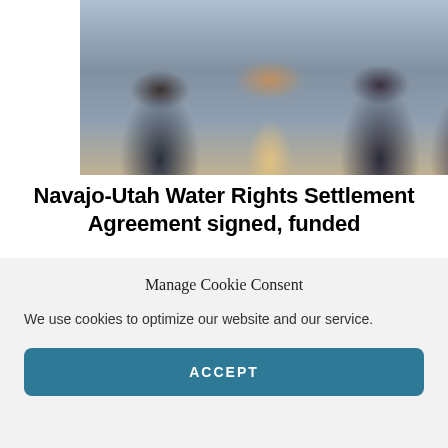[Figure (photo): Group of people in business/formal attire standing together outdoors, partially cropped at top]
Navajo-Utah Water Rights Settlement Agreement signed, funded
After decades of negotiation, the Navajo-Utah Water Rights Settlement Agreement was signed. Partially funded with federal infrastructure funds, the settlement will help Navajos with no indoor...
Manage Cookie Consent
We use cookies to optimize our website and our service.